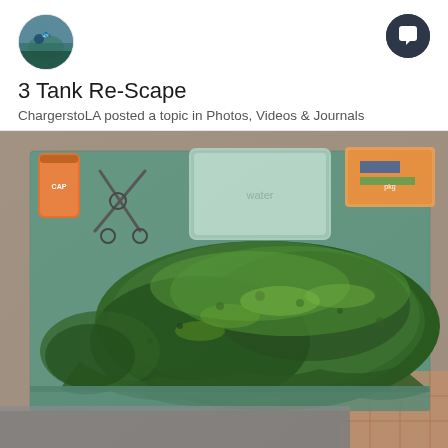[Figure (photo): Circular avatar photo showing an aquarium or fish tank scene with blue/green gravel]
[Figure (other): Dark circular icon with white speech bubble / chat icon on dark navy background]
3 Tank Re-Scape
ChargerstoLA posted a topic in Photos, Videos & Journals
[Figure (photo): Top-down photo of aquatic moss/plants laid out on a teal/green towel on a table. A clear plastic container with water, scissors/aquascaping tools, and some packaging are visible in the upper portion of the image. The green aquatic moss covers a large rectangular area.]